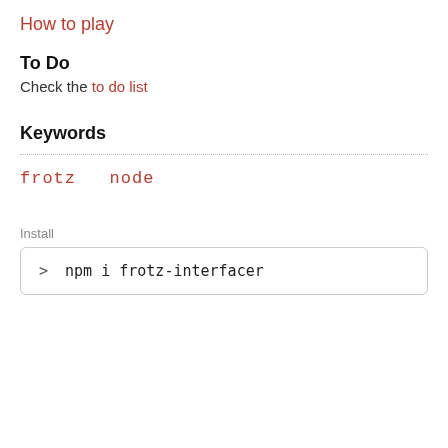How to play
To Do
Check the to do list
Keywords
frotz   node
Install
> npm i frotz-interfacer